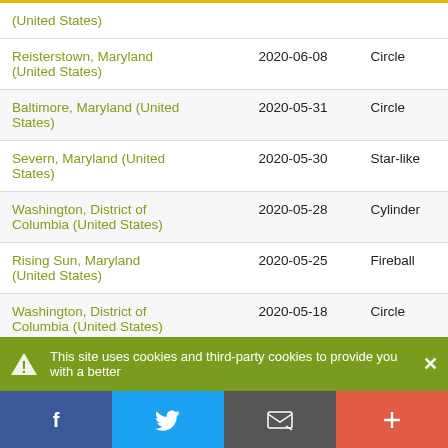| Location | Date | Shape |
| --- | --- | --- |
| (United States) |  |  |
| Reisterstown, Maryland (United States) | 2020-06-08 | Circle |
| Baltimore, Maryland (United States) | 2020-05-31 | Circle |
| Severn, Maryland (United States) | 2020-05-30 | Star-like |
| Washington, District of Columbia (United States) | 2020-05-28 | Cylinder |
| Rising Sun, Maryland (United States) | 2020-05-25 | Fireball |
| Washington, District of Columbia (United States) | 2020-05-18 | Circle |
This site uses cookies and third-party cookies to provide you with a better